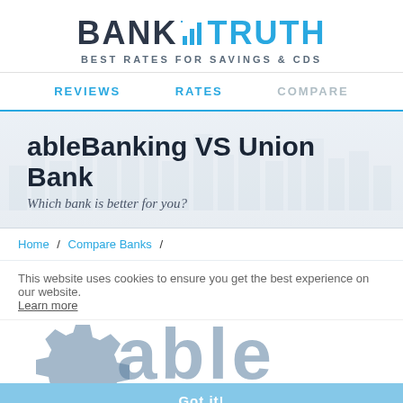BANK.TRUTH — BEST RATES FOR SAVINGS & CDS
REVIEWS   RATES   COMPARE
ableBanking VS Union Bank
Which bank is better for you?
Home / Compare Banks /
This website uses cookies to ensure you get the best experience on our website. Learn more
[Figure (logo): ableBanking logo overlaid with gear icon, partially obscured by 'Got it!' blue bar and BANKING text at bottom]